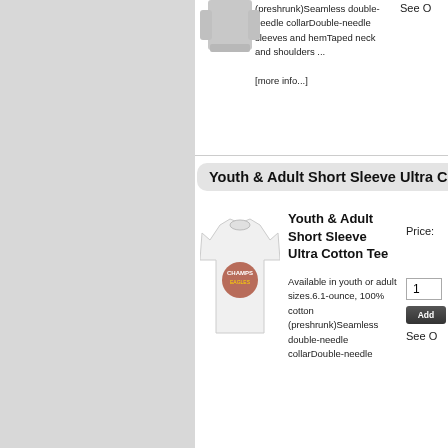[Figure (photo): Gray t-shirt product image cropped at top]
(preshrunk)Seamless double-needle collarDouble-needle sleeves and hemTaped neck and shoulders ... [more info...]
See O
Youth & Adult Short Sleeve Ultra Cotton Tee
[Figure (photo): White t-shirt with CHAMPS eagle graphic]
Youth & Adult Short Sleeve Ultra Cotton Tee
Price:
Available in youth or adult sizes.6.1-ounce, 100% cotton (preshrunk)Seamless double-needle collarDouble-needle
1
Add
See O